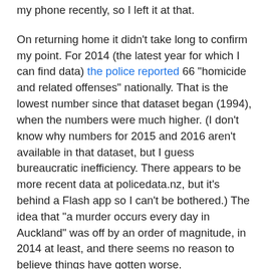my phone recently, so I left it at that.
On returning home it didn't take long to confirm my point. For 2014 (the latest year for which I can find data) the police reported 66 "homicide and related offenses" nationally. That is the lowest number since that dataset began (1994), when the numbers were much higher. (I don't know why numbers for 2015 and 2016 aren't available in that dataset, but I guess bureaucratic inefficiency. There appears to be more recent data at policedata.nz, but it's behind a Flash app so I can't be bothered.) The idea that "a murder occurs every day in Auckland" was off by an order of magnitude, in 2014 at least, and there seems no reason to believe things have gotten worse.
Wikipedia has a good discussion of how in New Zealand (and other Western countries) people tend to believe violent crime is increasing when in fact it has been generally decreasing. I've read all sorts of theories and surveys of theories about the causes of this decrease, from "increased abortion" to "declining lead levels", but it appears no-one really knows; there are probably multiple causes. It's certainly welcome!